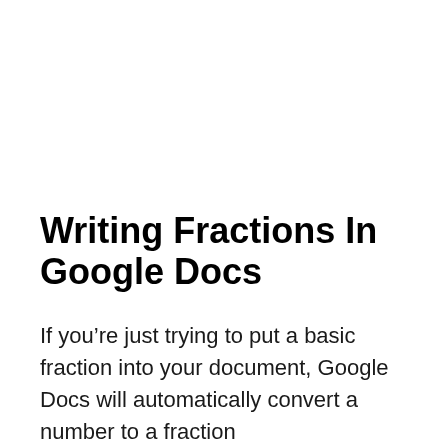Writing Fractions In Google Docs
If you're just trying to put a basic fraction into your document, Google Docs will automatically convert a number to a fraction